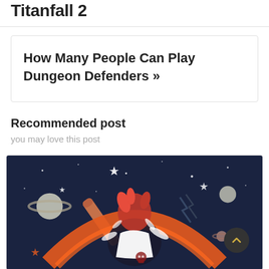Titanfall 2
How Many People Can Play Dungeon Defenders »
Recommended post
you may love this post
[Figure (illustration): Colorful gaming illustration on dark navy background showing a cartoon character with red hair swinging a baseball bat, surrounded by planets with rings, stars, lightning bolts, and cosmic elements in orange, white, and red colors. A scroll-to-top button (dark circle with upward chevron) overlays the bottom-right corner.]